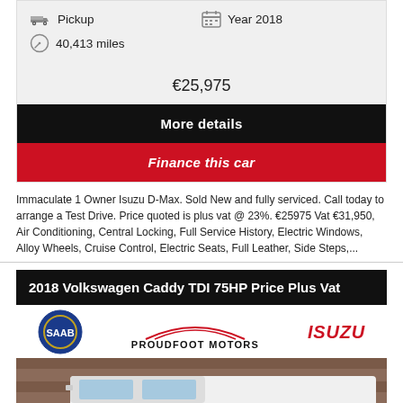Pickup   Year 2018   40,413 miles
€25,975
More details
Finance this car
Immaculate 1 Owner Isuzu D-Max. Sold New and fully serviced. Call today to arrange a Test Drive. Price quoted is plus vat @ 23%. €25975 Vat €31,950, Air Conditioning, Central Locking, Full Service History, Electric Windows, Alloy Wheels, Cruise Control, Electric Seats, Full Leather, Side Steps,...
2018 Volkswagen Caddy TDI 75HP Price Plus Vat
[Figure (logo): Proudfoot Motors dealer logos: SAAB circular logo, Proudfoot Motors car silhouette logo with text, ISUZU red italic text logo]